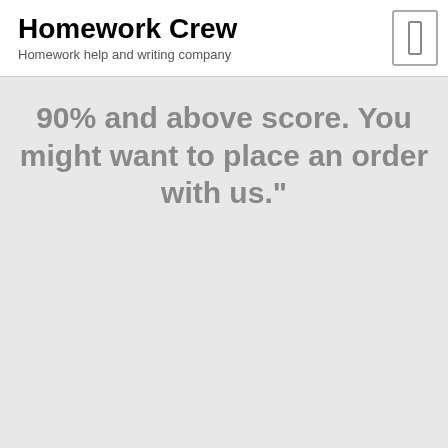Homework Crew
Homework help and writing company
90% and above score. You might want to place an order with us."